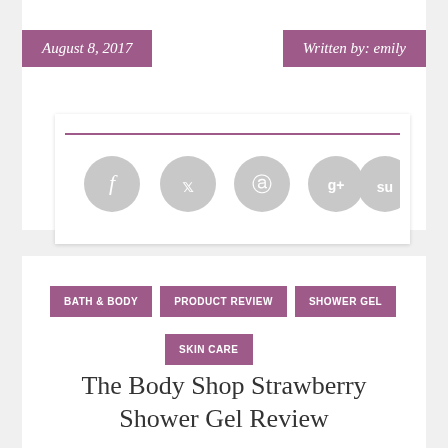August 8, 2017
Written by: emily
[Figure (infographic): Social sharing icons: Facebook, Twitter, Pinterest, Google+, StumbleUpon — circular grey buttons arranged in a row below a purple horizontal rule]
BATH & BODY
PRODUCT REVIEW
SHOWER GEL
SKIN CARE
The Body Shop Strawberry Shower Gel Review